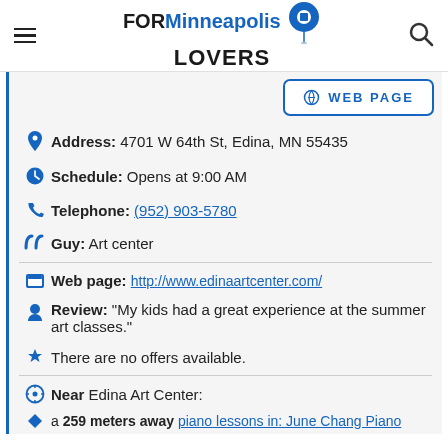FOR Minneapolis LOVERS
WEB PAGE
Address: 4701 W 64th St, Edina, MN 55435
Schedule: Opens at 9:00 AM
Telephone: (952) 903-5780
Guy: Art center
Web page: http://www.edinaartcenter.com/
Review: "My kids had a great experience at the summer art classes."
There are no offers available.
Near Edina Art Center:
a 259 meters away piano lessons in: June Chang Piano